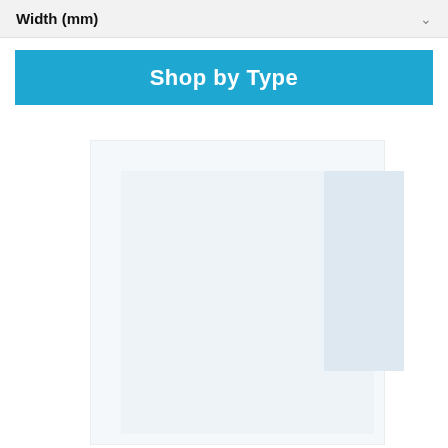Width (mm)
Shop by Type
[Figure (photo): Product image area showing a partially visible product silhouette on a light blue-grey background]